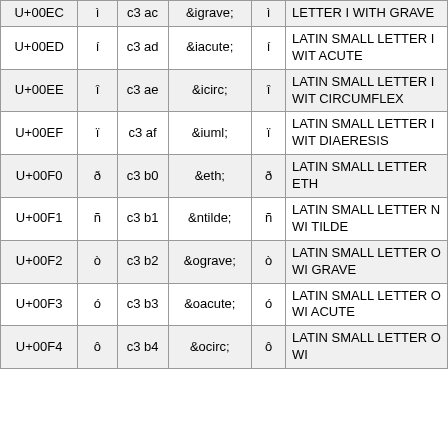| Code | Char | UTF-8 | HTML Entity | Rendered | Description |
| --- | --- | --- | --- | --- | --- |
| U+00EC | ì | c3 ac | &igrave; | ì | LATIN SMALL LETTER I WITH GRAVE |
| U+00ED | í | c3 ad | &iacute; | í | LATIN SMALL LETTER I WITH ACUTE |
| U+00EE | î | c3 ae | &icirc; | î | LATIN SMALL LETTER I WITH CIRCUMFLEX |
| U+00EF | ï | c3 af | &iuml; | ï | LATIN SMALL LETTER I WITH DIAERESIS |
| U+00F0 | ð | c3 b0 | &eth; | ð | LATIN SMALL LETTER ETH |
| U+00F1 | ñ | c3 b1 | &ntilde; | ñ | LATIN SMALL LETTER N WITH TILDE |
| U+00F2 | ò | c3 b2 | &ograve; | ò | LATIN SMALL LETTER O WITH GRAVE |
| U+00F3 | ó | c3 b3 | &oacute; | ó | LATIN SMALL LETTER O WITH ACUTE |
| U+00F4 | ô | c3 b4 | &ocirc; | ô | LATIN SMALL LETTER O WITH CIRCUMFLEX |